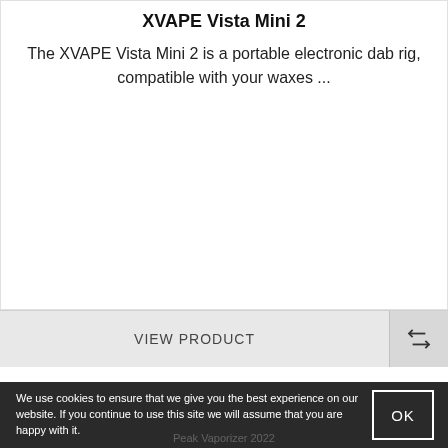XVAPE Vista Mini 2
The XVAPE Vista Mini 2 is a portable electronic dab rig, compatible with your waxes ...
VIEW PRODUCT
We use cookies to ensure that we give you the best experience on our website. If you continue to use this site we will assume that you are happy with it.
Peak Vaporizer 2022